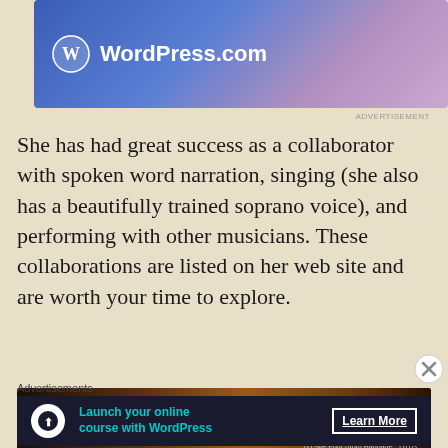[Figure (screenshot): WordPress.com advertisement banner with blue-to-purple gradient background, WordPress logo (circle with W), and text 'WordPress.com' in white]
She has had great success as a collaborator with spoken word narration, singing (she also has a beautifully trained soprano voice), and performing with other musicians. These collaborations are listed on her web site and are worth your time to explore.
[Figure (photo): Album cover image with dark brown/black background showing text credits: 'All works composed, performed, recorded and mixed by Pamela Z' on the left and track listing on the right including: 01 Quatre Couches / Flare Stains, 02 Unknown Person (from Baggage Allowance), 03 Other Rooms, 04 A Piece of..., 05 Site Four, 06 Typewriter, 07 He Says Yes, Timepiece Triptych, 08 Declaratives in the First Person, 09 Syrinx, 10 De-Spangled]
Advertisements
[Figure (screenshot): Advertisement banner for WordPress online course with dark navy background, circular icon, teal text 'Launch your online course with WordPress' and white 'Learn More' button]